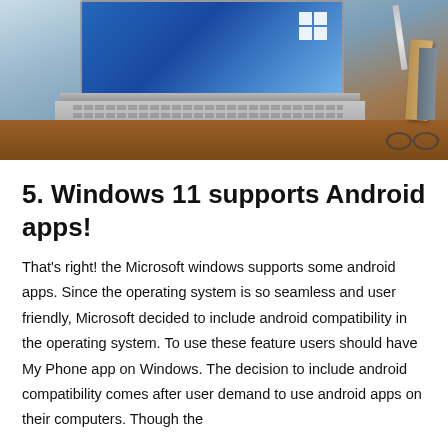[Figure (photo): A laptop on a wooden desk with a Windows 11 screen, books, and glasses in the background]
5. Windows 11 supports Android apps!
That's right! the Microsoft windows supports some android apps. Since the operating system is so seamless and user friendly, Microsoft decided to include android compatibility in the operating system. To use these feature users should have My Phone app on Windows. The decision to include android compatibility comes after user demand to use android apps on their computers. Though the